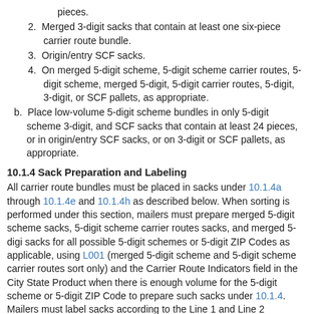pieces.
2. Merged 3-digit sacks that contain at least one six-piece carrier route bundle.
3. Origin/entry SCF sacks.
4. On merged 5-digit scheme, 5-digit scheme carrier routes, 5-digit scheme, merged 5-digit, 5-digit carrier routes, 5-digit, 3-digit, or SCF pallets, as appropriate.
b. Place low-volume 5-digit scheme bundles in only 5-digit scheme 3-digit, and SCF sacks that contain at least 24 pieces, or in origin/entry SCF sacks, or on 3-digit or SCF pallets, as appropriate.
10.1.4 Sack Preparation and Labeling
All carrier route bundles must be placed in sacks under 10.1.4a through 10.1.4e and 10.1.4h as described below. When sorting is performed under this section, mailers must prepare merged 5-digit scheme sacks, 5-digit scheme carrier routes sacks, and merged 5-digit sacks for all possible 5-digit schemes or 5-digit ZIP Codes as applicable, using L001 (merged 5-digit scheme and 5-digit scheme carrier routes sort only) and the Carrier Route Indicators field in the City State Product when there is enough volume for the 5-digit scheme or 5-digit ZIP Code to prepare such sacks under 10.1.4. Mailers must label sacks according to the Line 1 and Line 2 information listed below